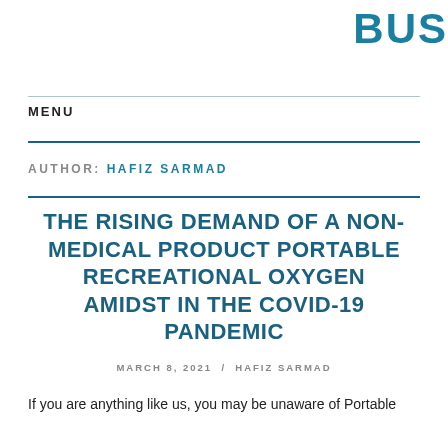BUS
MENU
AUTHOR: HAFIZ SARMAD
THE RISING DEMAND OF A NON-MEDICAL PRODUCT PORTABLE RECREATIONAL OXYGEN AMIDST IN THE COVID-19 PANDEMIC
MARCH 8, 2021 / HAFIZ SARMAD
If you are anything like us, you may be unaware of Portable